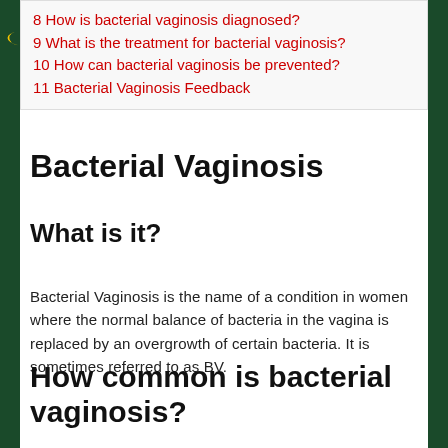8 How is bacterial vaginosis diagnosed?
9 What is the treatment for bacterial vaginosis?
10 How can bacterial vaginosis be prevented?
11 Bacterial Vaginosis Feedback
Bacterial Vaginosis
What is it?
Bacterial Vaginosis is the name of a condition in women where the normal balance of bacteria in the vagina is replaced by an overgrowth of certain bacteria. It is sometimes referred to as BV.
How common is bacterial vaginosis?